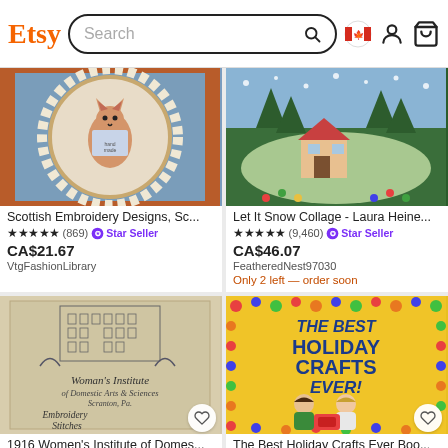Etsy — Search bar with Canadian flag, user icon, and basket icon
[Figure (photo): Cross-stitch embroidery hoop with a cat design on a ruffled circular frame, brown/orange background]
Scottish Embroidery Designs, Sc...
★★★★★ (869) ✪ Star Seller
CA$21.67
VtgFashionLibrary
[Figure (photo): Let It Snow Christmas scene collage with colorful winter village and trees]
Let It Snow Collage - Laura Heine...
★★★★★ (9,460) ✪ Star Seller
CA$46.07
FeatheredNest97030
Only 2 left — order soon
[Figure (photo): Vintage booklet cover: Woman's Institute of Domestic Arts & Sciences, Scranton Pa, Embroidery Stitches Part Two]
1916 Women's Institute of Domes...
[Figure (photo): The Best Holiday Crafts Ever book cover featuring cartoon children crafting with colorful decorations]
The Best Holiday Crafts Ever Boo...